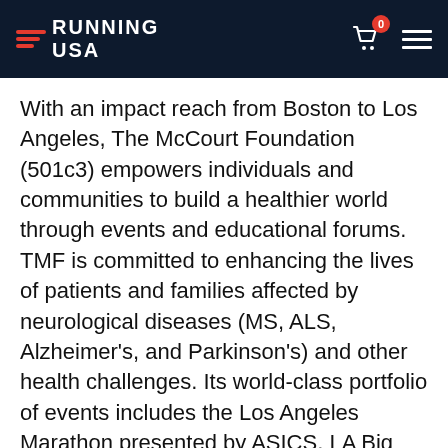Running USA
With an impact reach from Boston to Los Angeles, The McCourt Foundation (501c3) empowers individuals and communities to build a healthier world through events and educational forums. TMF is committed to enhancing the lives of patients and families affected by neurological diseases (MS, ALS, Alzheimer’s, and Parkinson’s) and other health challenges. Its world-class portfolio of events includes the Los Angeles Marathon presented by ASICS, LA Big 5k, Rose Bowl Half Marathon & 5K, Santa Monica Classic 5K/10K, Boston Waterfront 5K, Tour de South Shore, the McCourt Gala & Auction, and the Educational Update.